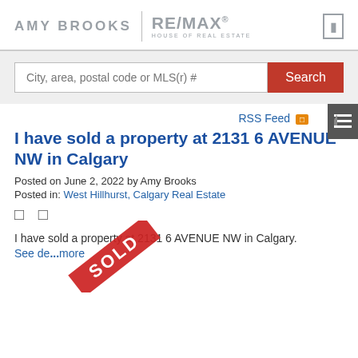AMY BROOKS | RE/MAX® HOUSE OF REAL ESTATE
City, area, postal code or MLS(r) #
Search
RSS Feed
I have sold a property at 2131 6 AVENUE NW in Calgary
Posted on June 2, 2022 by Amy Brooks
Posted in: West Hillhurst, Calgary Real Estate
I have sold a property at 2131 6 AVENUE NW in Calgary.
See details here...